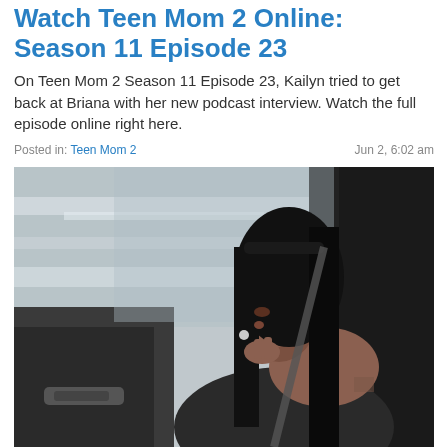Watch Teen Mom 2 Online: Season 11 Episode 23
On Teen Mom 2 Season 11 Episode 23, Kailyn tried to get back at Briana with her new podcast interview. Watch the full episode online right here.
Posted in: Teen Mom 2    Jun 2, 6:02 am
[Figure (photo): A young woman sitting in the passenger seat of a car, looking thoughtful, with blurred scenery visible through the window.]
Watch Teen Mom 2 Online: Season 11 Episode 22